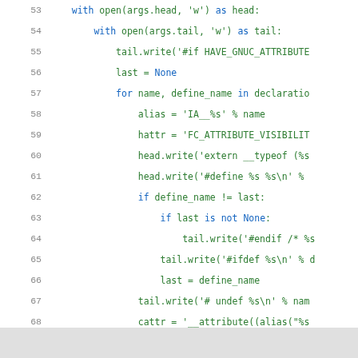[Figure (screenshot): Python source code snippet showing lines 53-71, with line numbers in gray on the left, keywords in blue, and string/code content in green on a white background. A gray bar appears at the bottom.]